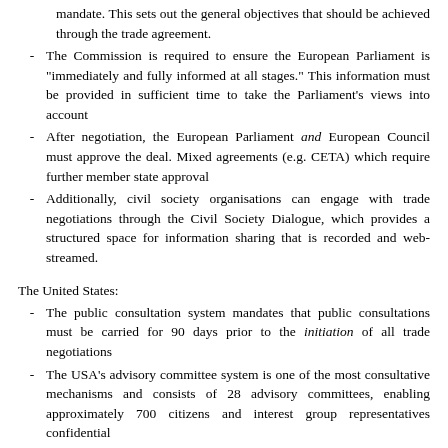mandate. This sets out the general objectives that should be achieved through the trade agreement.
The Commission is required to ensure the European Parliament is "immediately and fully informed at all stages." This information must be provided in sufficient time to take the Parliament's views into account
After negotiation, the European Parliament and European Council must approve the deal. Mixed agreements (e.g. CETA) which require further member state approval
Additionally, civil society organisations can engage with trade negotiations through the Civil Society Dialogue, which provides a structured space for information sharing that is recorded and web-streamed.
The United States:
The public consultation system mandates that public consultations must be carried for 90 days prior to the initiation of all trade negotiations
The USA's advisory committee system is one of the most consultative mechanisms and consists of 28 advisory committees, enabling approximately 700 citizens and interest group representatives confidential